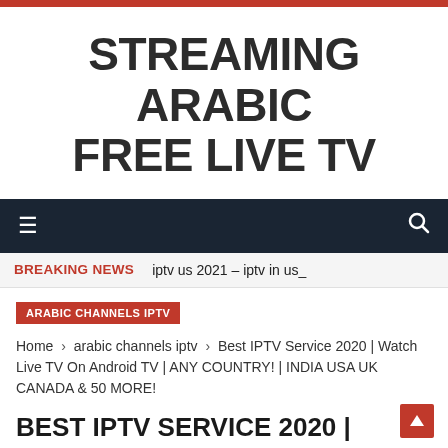STREAMING ARABIC FREE LIVE TV
≡   🔍
BREAKING NEWS   iptv us 2021 – iptv in us_
ARABIC CHANNELS IPTV
Home › arabic channels iptv › Best IPTV Service 2020 | Watch Live TV On Android TV | ANY COUNTRY! | INDIA USA UK CANADA & 50 MORE!
BEST IPTV SERVICE 2020 | WATCH LIVE TV ON ANDROID TV | ANY